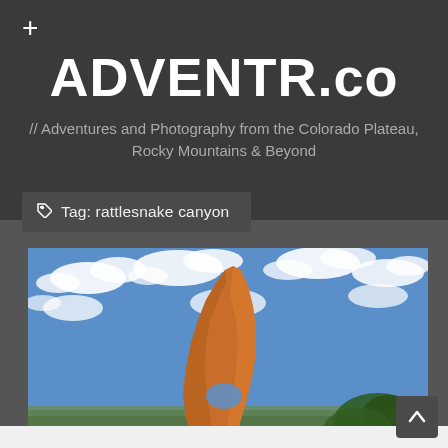+
ADVENTR.co
// Adventures and Photography from the Colorado Plateau, Rocky Mountains & Beyond
Tag: rattlesnake canyon
[Figure (photo): A large orange sandstone rock formation with a natural arch at its base, set against a vivid blue sky with scattered white clouds. Green trees visible at lower right. Desert landscape extends to the horizon.]